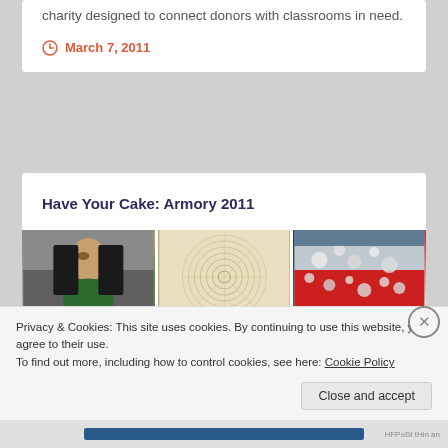charity designed to connect donors with classrooms in need.
March 7, 2011
Have Your Cake: Armory 2011
[Figure (photo): Three art images side by side: a painting of a woman in green, a circular woven pattern, and an abstract red and silver artwork.]
Privacy & Cookies: This site uses cookies. By continuing to use this website, you agree to their use.
To find out more, including how to control cookies, see here: Cookie Policy
Close and accept